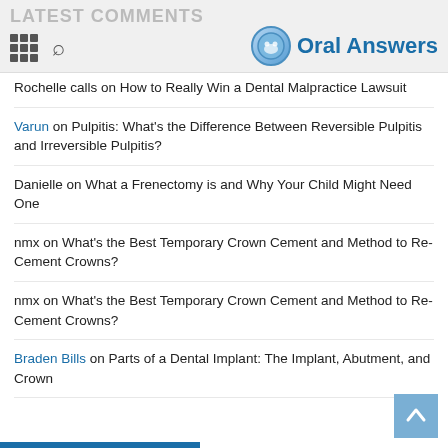LATEST COMMENTS — Oral Answers
Rochelle calls on How to Really Win a Dental Malpractice Lawsuit
Varun on Pulpitis: What's the Difference Between Reversible Pulpitis and Irreversible Pulpitis?
Danielle on What a Frenectomy is and Why Your Child Might Need One
nmx on What's the Best Temporary Crown Cement and Method to Re-Cement Crowns?
nmx on What's the Best Temporary Crown Cement and Method to Re-Cement Crowns?
Braden Bills on Parts of a Dental Implant: The Implant, Abutment, and Crown
Braden Bills on Parts of a Dental Implant: The Implant, Abutment, and Crown
Dee on Dental Gingival Retraction Cord: What It Is and Why We Use It